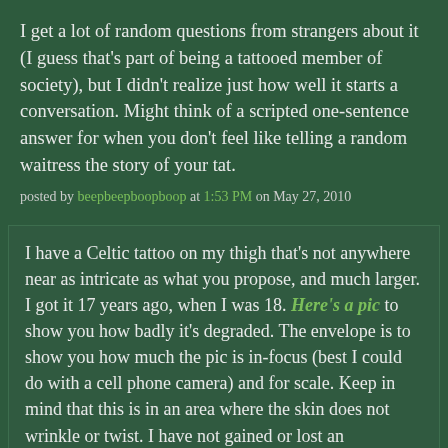I get a lot of random questions from strangers about it (I guess that's part of being a tattooed member of society), but I didn't realize just how well it starts a conversation. Might think of a scripted one-sentence answer for when you don't feel like telling a random waitress the story of your tat.
posted by beepbeepboopboop at 1:53 PM on May 27, 2010
I have a Celtic tattoo on my thigh that's not anywhere near as intricate as what you propose, and much larger. I got it 17 years ago, when I was 18. Here's a pic to show you how badly it's degraded. The envelope is to show you how much the pic is in-focus (best I could do with a cell phone camera) and for scale. Keep in mind that this is in an area where the skin does not wrinkle or twist. I have not gained or lost an appreciable amount of weight. I hardly ever wear shorts and I don't swim so it has not been exposed to sun very much. And it's still blurry as hell despite the fact that I